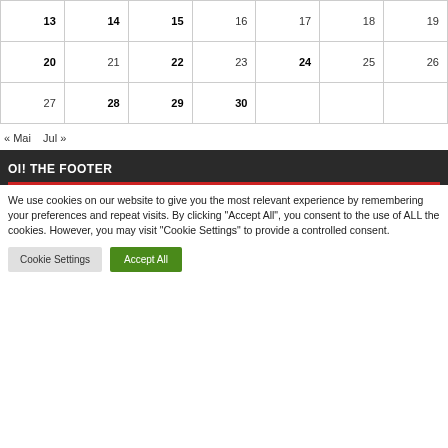| 13 | 14 | 15 | 16 | 17 | 18 | 19 |
| 20 | 21 | 22 | 23 | 24 | 25 | 26 |
| 27 | 28 | 29 | 30 |  |  |  |
« Mai   Jul »
OI! THE FOOTER
We use cookies on our website to give you the most relevant experience by remembering your preferences and repeat visits. By clicking "Accept All", you consent to the use of ALL the cookies. However, you may visit "Cookie Settings" to provide a controlled consent.
Cookie Settings   Accept All